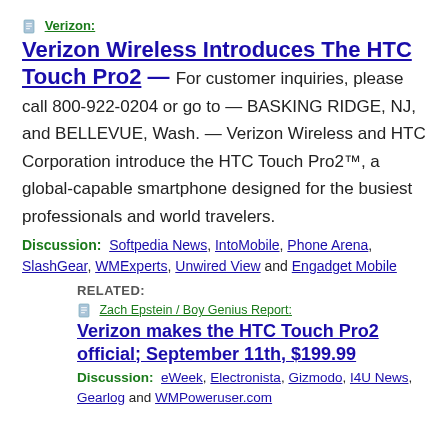Verizon:
Verizon Wireless Introduces The HTC Touch Pro2 — For customer inquiries, please call 800-922-0204 or go to — BASKING RIDGE, NJ, and BELLEVUE, Wash. — Verizon Wireless and HTC Corporation introduce the HTC Touch Pro2™, a global-capable smartphone designed for the busiest professionals and world travelers.
Discussion: Softpedia News, IntoMobile, Phone Arena, SlashGear, WMExperts, Unwired View and Engadget Mobile
RELATED:
Zach Epstein / Boy Genius Report:
Verizon makes the HTC Touch Pro2 official; September 11th, $199.99
Discussion: eWeek, Electronista, Gizmodo, I4U News, Gearlog and WMPoweruser.com